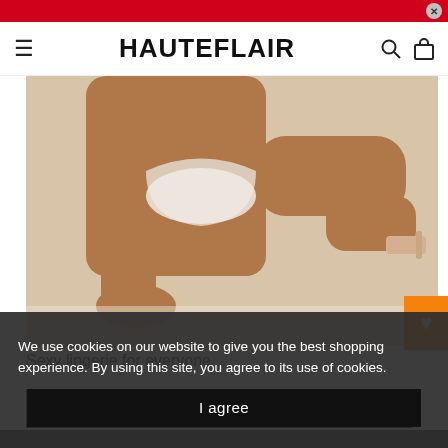HAUTEFLAIR
[Figure (photo): A person in white lace lingerie and nude heels posed on a light floor, shot from mid-torso down showing legs and hands on the floor.]
Sexy lingerie for everyone
SHOP NOW
We use cookies on our website to give you the best shopping experience. By using this site, you agree to its use of cookies.
I agree